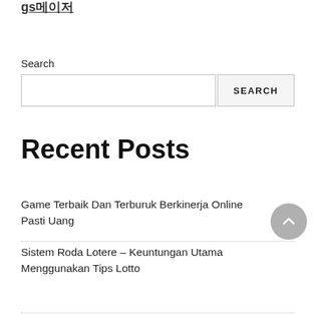gs메이저
Search
[Search input box] [SEARCH button]
Recent Posts
Game Terbaik Dan Terburuk Berkinerja Online Pasti Uang
Sistem Roda Lotere – Keuntungan Utama Menggunakan Tips Lotto